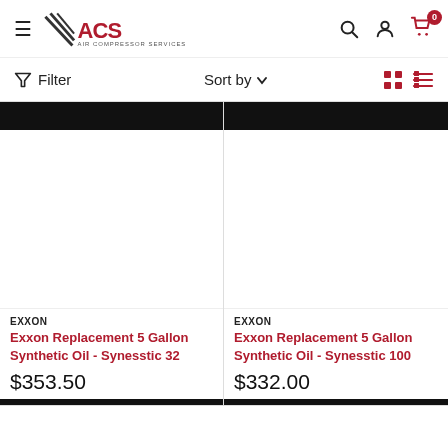[Figure (logo): ACS Air Compressor Services logo with hamburger menu icon on left]
Filter   Sort by   (grid/list view icons)
[Figure (photo): Black banner top of product image for Exxon Synesstic 32]
[Figure (photo): Black banner top of product image for Exxon Synesstic 100]
EXXON
Exxon Replacement 5 Gallon Synthetic Oil - Synesstic 32
$353.50
EXXON
Exxon Replacement 5 Gallon Synthetic Oil - Synesstic 100
$332.00